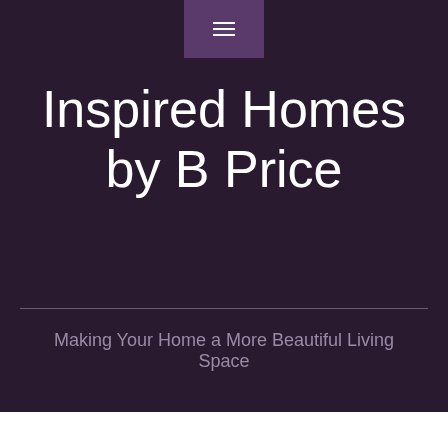☰
Inspired Homes by B Price
Making Your Home a More Beautiful Living Space